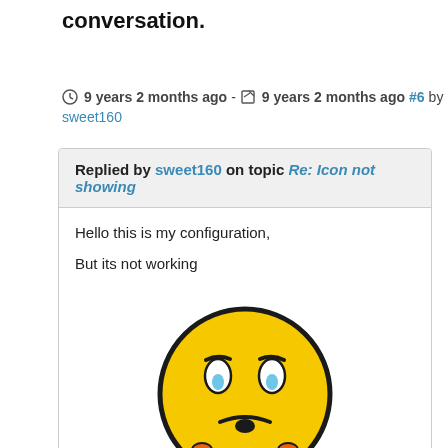conversation.
9 years 2 months ago - 9 years 2 months ago #6 by sweet160
Replied by sweet160 on topic Re: Icon not showing
Hello this is my configuration,
But its not working
[Figure (illustration): A yellow worried/confused emoji face with hands on cheeks, orange hands, and tearful blue eyes with a frown.]